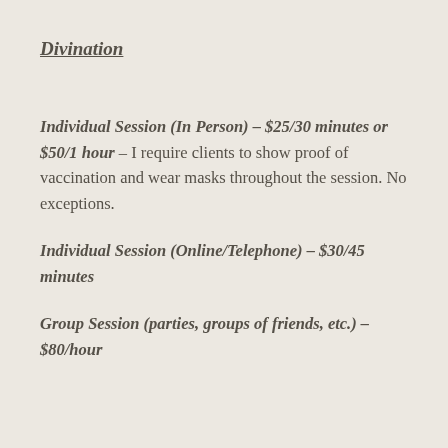Divination
Individual Session (In Person) – $25/30 minutes or $50/1 hour – I require clients to show proof of vaccination and wear masks throughout the session. No exceptions.
Individual Session (Online/Telephone) – $30/45 minutes
Group Session (parties, groups of friends, etc.) – $80/hour